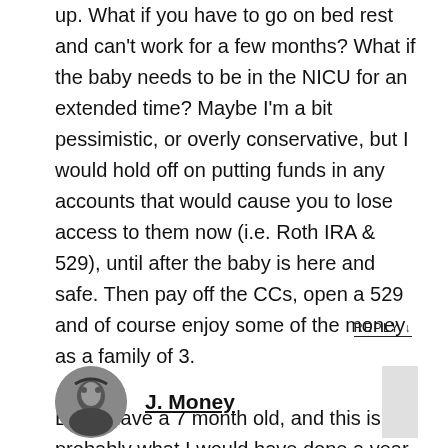up. What if you have to go on bed rest and can't work for a few months? What if the baby needs to be in the NICU for an extended time? Maybe I'm a bit pessimistic, or overly conservative, but I would hold off on putting funds in any accounts that would cause you to lose access to them now (i.e. Roth IRA & 529), until after the baby is here and safe. Then pay off the CCs, open a 529 and of course enjoy some of the money as a family of 3.

Btw, I have a 7 month old, and this is probably what I would have done a year ago 🙂
REPLY ↓
[Figure (photo): Circular avatar photo of J. Money, black and white profile picture]
J. Money